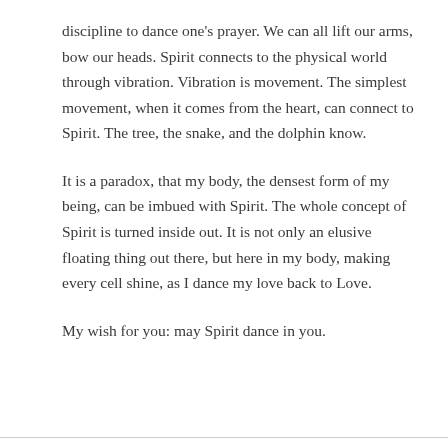discipline to dance one's prayer. We can all lift our arms, bow our heads. Spirit connects to the physical world through vibration. Vibration is movement. The simplest movement, when it comes from the heart, can connect to Spirit. The tree, the snake, and the dolphin know.
It is a paradox, that my body, the densest form of my being, can be imbued with Spirit. The whole concept of Spirit is turned inside out. It is not only an elusive floating thing out there, but here in my body, making every cell shine, as I dance my love back to Love.
My wish for you: may Spirit dance in you.